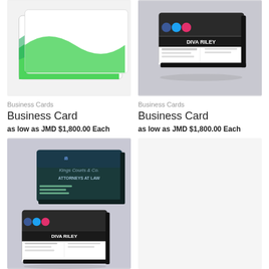[Figure (photo): Business card mock-up with green wave design, showing text on white card]
Business Cards
Business Card
as low as JMD $1,800.00 Each
[Figure (photo): 3D rendered business card mock-up with dark top and white bottom showing Diva Riley branding]
Business Cards
Business Card
as low as JMD $1,800.00 Each
[Figure (photo): 3D rendered business cards showing attorneys at law branding (Kings Courts & Co.) and Diva Riley card stacked]
Business Cards
Business Card
as low as JMD $1,800.00 Each
[Figure (photo): Empty product image placeholder]
Business Cards
Business Card
as low as JMD $1,800.00 Each